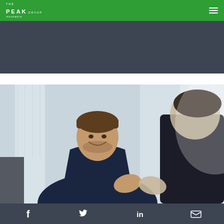THE PEAK GROUP
[Figure (illustration): Dark gray banner/hero area placeholder]
[Figure (photo): Two businessmen in suits shaking hands and smiling in an office setting with large windows]
Social media icons: Facebook, Twitter, LinkedIn, Email